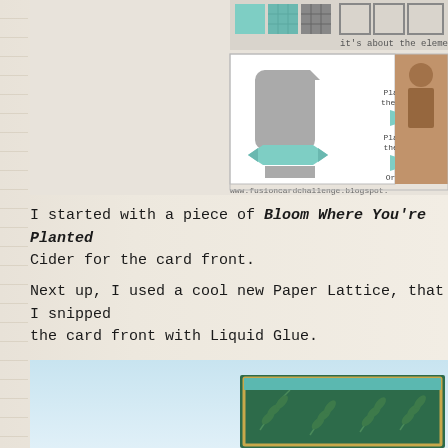[Figure (illustration): Fusion card challenge blog post image showing a card sketch with a tombstone/arch shape and teal banner ribbon, along with text options 'Play with the sketch', 'Play with the photo', 'Or both!' and website www.fusioncardchallenge.blogspot. Also visible are teal/mint patterned squares in top corner and a partial photo of someone.]
I started with a piece of Bloom Where You're Planted Cider for the card front.
Next up, I used a cool new Paper Lattice, that I snipped the card front with Liquid Glue.
[Figure (photo): Partial photo showing a handmade card with dark green botanical/leaf patterned paper and a teal/gold border, on a light blue background.]